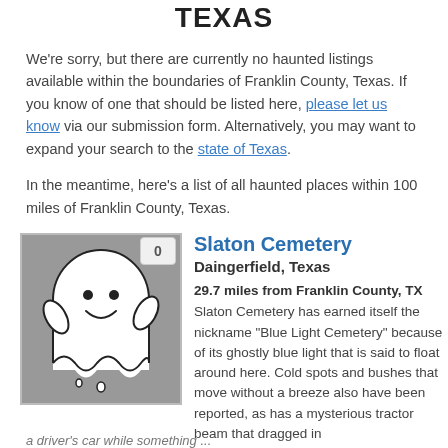TEXAS
We're sorry, but there are currently no haunted listings available within the boundaries of Franklin County, Texas. If you know of one that should be listed here, please let us know via our submission form. Alternatively, you may want to expand your search to the state of Texas.
In the meantime, here's a list of all haunted places within 100 miles of Franklin County, Texas.
[Figure (illustration): Ghost mascot illustration on grey background with vote count badge showing 0]
Slaton Cemetery
Daingerfield, Texas
29.7 miles from Franklin County, TX
Slaton Cemetery has earned itself the nickname "Blue Light Cemetery" because of its ghostly blue light that is said to float around here. Cold spots and bushes that move without a breeze also have been reported, as has a mysterious tractor beam that dragged in a driver's car while something...